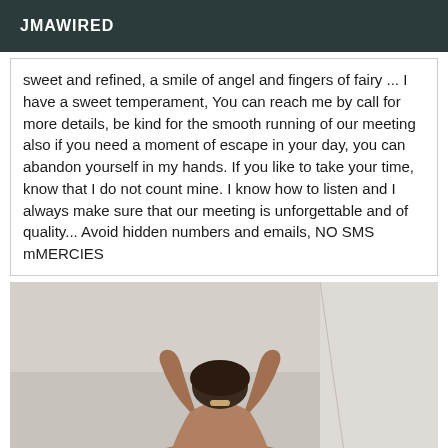JMAWIRED
sweet and refined, a smile of angel and fingers of fairy ... I have a sweet temperament, You can reach me by call for more details, be kind for the smooth running of our meeting also if you need a moment of escape in your day, you can abandon yourself in my hands. If you like to take your time, know that I do not count mine. I know how to listen and I always make sure that our meeting is unforgettable and of quality... Avoid hidden numbers and emails, NO SMS mMERCIES
[Figure (photo): A person photographed from behind with arms raised, wearing minimal clothing, against a light grey/white background with a wall visible on the right side.]